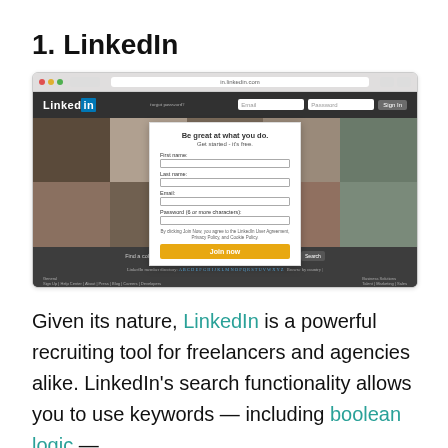1. LinkedIn
[Figure (screenshot): Screenshot of the LinkedIn homepage showing profile photos grid, signup modal with fields for First name, Last name, Email, Password, and a yellow Join now button, plus header with LinkedIn logo and sign-in inputs.]
Given its nature, LinkedIn is a powerful recruiting tool for freelancers and agencies alike. LinkedIn's search functionality allows you to use keywords — including boolean logic —